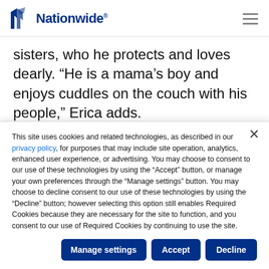Nationwide
sisters, who he protects and loves dearly. “He is a mama’s boy and enjoys cuddles on the couch with his people,” Erica adds.
Randy’s people are protective of him, too—
This site uses cookies and related technologies, as described in our privacy policy, for purposes that may include site operation, analytics, enhanced user experience, or advertising. You may choose to consent to our use of these technologies by using the “Accept” button, or manage your own preferences through the “Manage settings” button. You may choose to decline consent to our use of these technologies by using the “Decline” button; however selecting this option still enables Required Cookies because they are necessary for the site to function, and you consent to our use of Required Cookies by continuing to use the site.